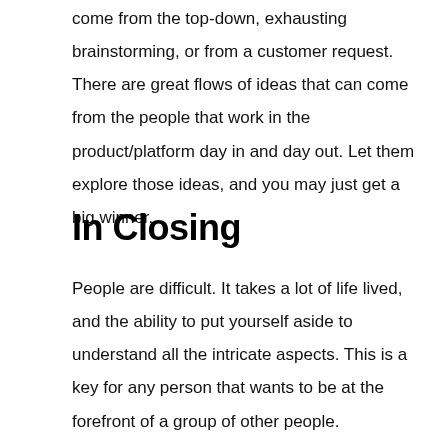come from the top-down, exhausting brainstorming, or from a customer request. There are great flows of ideas that can come from the people that work in the product/platform day in and day out. Let them explore those ideas, and you may just get a big winner.
In Closing
People are difficult. It takes a lot of life lived, and the ability to put yourself aside to understand all the intricate aspects. This is a key for any person that wants to be at the forefront of a group of other people. Unfortunately, with the promotion-centric and ladder climbing professional environment we live in, it fastly has become